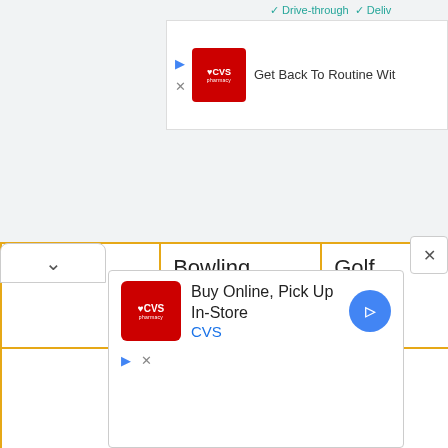[Figure (screenshot): Top CVS pharmacy advertisement banner with logo, play and close arrow buttons, and text 'Get Back To Routine Wit...']
| Standing | Bowling | Golf (no cart) | Walking u hills |
| Studying | Store clerking | Doubles tennis | Cross-country skiing |
| Sitting | Canoeing | Canoeing 4 |  |
[Figure (screenshot): Bottom CVS pharmacy advertisement with logo, text 'Buy Online, Pick Up In-Store', 'CVS', and a navigation arrow icon]